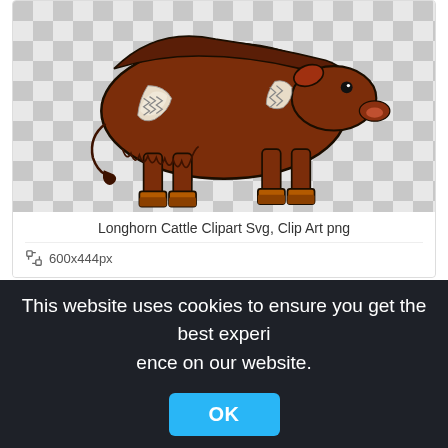[Figure (illustration): Longhorn cattle clipart SVG illustration of a brown cow/yak with shaggy fur, orange hooves, on a transparent (checkered) background. The animal is shown in profile facing right.]
Longhorn Cattle Clipart Svg, Clip Art png
600x444px
[Figure (illustration): Second clipart card partially visible showing checkered transparency background.]
This website uses cookies to ensure you get the best experience on our website.